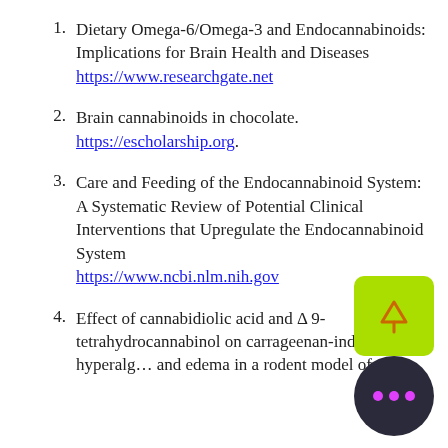1. Dietary Omega-6/Omega-3 and Endocannabinoids: Implications for Brain Health and Diseases https://www.researchgate.net
2. Brain cannabinoids in chocolate. https://escholarship.org.
3. Care and Feeding of the Endocannabinoid System: A Systematic Review of Potential Clinical Interventions that Upregulate the Endocannabinoid System https://www.ncbi.nlm.nih.gov
4. Effect of cannabidiolic acid and Δ 9-tetrahydrocannabinol on carrageenan-induced hyperalgesia and edema in a rodent model of